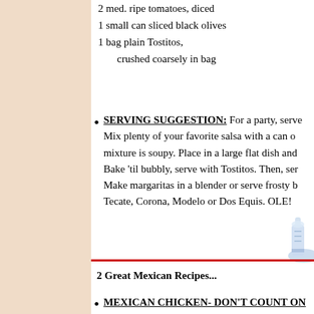2 med. ripe tomatoes, diced
1 small can sliced black olives
1 bag plain Tostitos, crushed coarsely in bag
SERVING SUGGESTION: For a party, serve Mix plenty of your favorite salsa with a can of mixture is soupy. Place in a large flat dish and Bake 'til bubbly, serve with Tostitos. Then, ser Make margaritas in a blender or serve frosty b Tecate, Corona, Modelo or Dos Equis. OLE!
[Figure (illustration): Partial illustration of a decorative bottle or margarita glass, cropped at right edge]
2 Great Mexican Recipes...
MEXICAN CHICKEN- DON'T COUNT ON